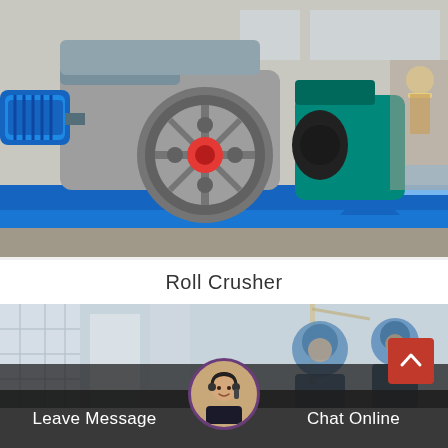[Figure (photo): Industrial roll crusher machine on a blue steel frame inside a factory/warehouse. The machine features a large gray housing with a prominent black flywheel with red center, a blue electric motor on the left, and a teal/green secondary crusher unit on the right. A worker in a hard hat is visible in the background on the right side.]
Roll Crusher
[Figure (photo): Blurred background image showing construction workers wearing blue hard hats, with cranes and buildings in the background. A customer service representative avatar (woman with headset) is overlaid at the bottom center.]